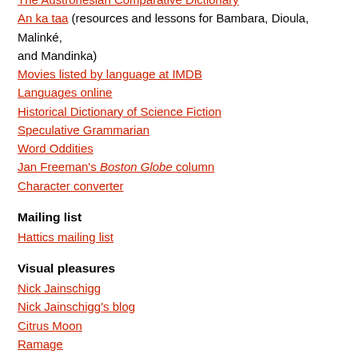The Austronesian Comparative Dictionary
An ka taa (resources and lessons for Bambara, Dioula, Malinké, and Mandinka)
Movies listed by language at IMDB
Languages online
Historical Dictionary of Science Fiction
Speculative Grammarian
Word Oddities
Jan Freeman's Boston Globe column
Character converter
Mailing list
Hattics mailing list
Visual pleasures
Nick Jainschigg
Nick Jainschigg's blog
Citrus Moon
Ramage
Barry Guy
Conscientious